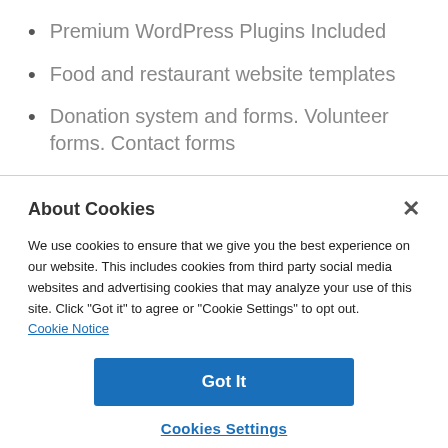Premium WordPress Plugins Included
Food and restaurant website templates
Donation system and forms. Volunteer forms. Contact forms
About Cookies
We use cookies to ensure that we give you the best experience on our website. This includes cookies from third party social media websites and advertising cookies that may analyze your use of this site. Click "Got it" to agree or "Cookie Settings" to opt out.
Cookie Notice
Got It
Cookies Settings